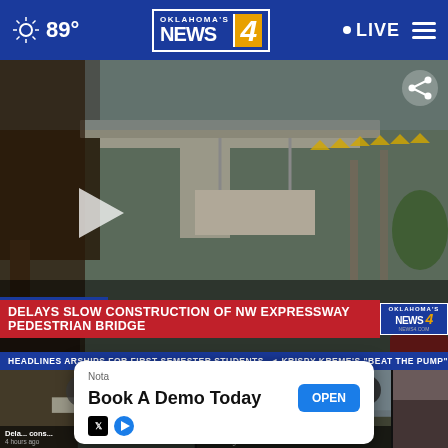89° Oklahoma's News 4 LIVE
[Figure (screenshot): Construction video still showing a pedestrian bridge structure under construction with lower third graphic reading DELAYS SLOW CONSTRUCTION OF NW EXPRESSWAY PEDESTRIAN BRIDGE]
HEADLINES   ARSHIPS FOR FIRST SEMESTER STUDENTS.   KRISPY KREME'S "BEAT THE PUMP" P...
[Figure (screenshot): Thumbnail of bridge construction video]
[Figure (screenshot): Thumbnail of second news video with close button]
Delay... cons... 4 hours ago
Oklah... paper... 13 hours ago
Nota
Book A Demo Today
OPEN